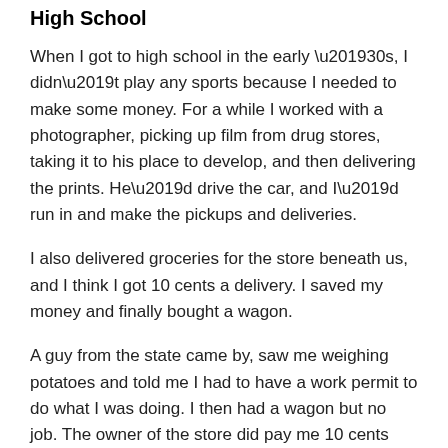High School
When I got to high school in the early ’30s, I didn’t play any sports because I needed to make some money. For a while I worked with a photographer, picking up film from drug stores, taking it to his place to develop, and then delivering the prints. He’d drive the car, and I’d run in and make the pickups and deliveries.
I also delivered groceries for the store beneath us, and I think I got 10 cents a delivery. I saved my money and finally bought a wagon.
A guy from the state came by, saw me weighing potatoes and told me I had to have a work permit to do what I was doing. I then had a wagon but no job. The owner of the store did pay me 10 cents rental on my wagon.
One day I was walking home from school, and I asked this guy, “Would you like me to mow your lawn?” He gave